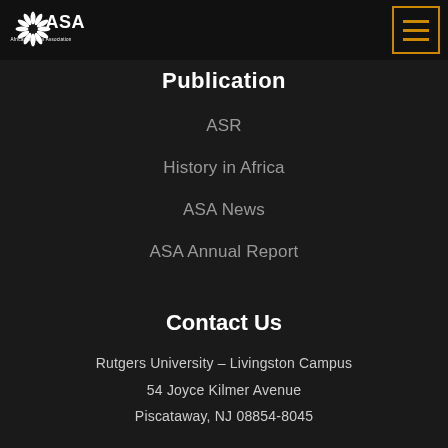[Figure (logo): African Studies Association (ASA) logo — white palm/snowflake icon with bold white text 'ASA' and smaller text 'African Studies Association' beneath]
[Figure (other): Orange-bordered hamburger menu icon with three orange horizontal lines]
Publication
ASR
History in Africa
ASA News
ASA Annual Report
Contact Us
Rutgers University – Livingston Campus
54 Joyce Kilmer Avenue
Piscataway, NJ 08854-8045